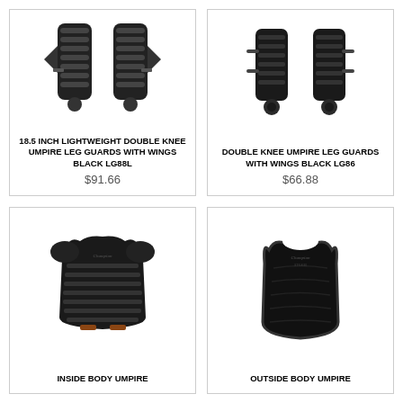[Figure (photo): 18.5 inch lightweight double knee umpire leg guards with wings, black color, product LG88L]
18.5 INCH LIGHTWEIGHT DOUBLE KNEE UMPIRE LEG GUARDS WITH WINGS BLACK LG88L
$91.66
[Figure (photo): Double knee umpire leg guards with wings, black color, product LG86]
DOUBLE KNEE UMPIRE LEG GUARDS WITH WINGS BLACK LG86
$66.88
[Figure (photo): Inside body umpire chest protector, black color]
INSIDE BODY UMPIRE
[Figure (photo): Outside body umpire chest protector/body shield, black fabric]
OUTSIDE BODY UMPIRE